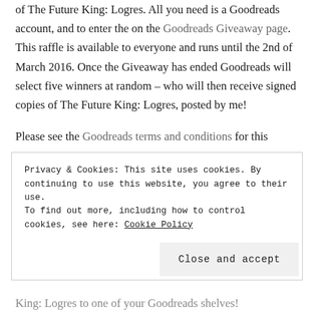of The Future King: Logres. All you need is a Goodreads account, and to enter the on the Goodreads Giveaway page. This raffle is available to everyone and runs until the 2nd of March 2016. Once the Giveaway has ended Goodreads will select five winners at random – who will then receive signed copies of The Future King: Logres, posted by me!
Please see the Goodreads terms and conditions for this giveaway.
Privacy & Cookies: This site uses cookies. By continuing to use this website, you agree to their use.
To find out more, including how to control cookies, see here: Cookie Policy
Close and accept
King: Logres to one of your Goodreads shelves!